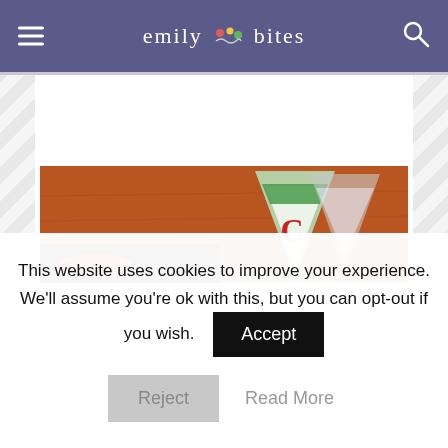emily bites
[Figure (photo): Blurred food photo showing a cheese wedge (triangular wedge with green label and red C logo, resembling Laughing Cow or similar brand) on a dark slate board with red food items, set against a warm brown wooden background.]
This website uses cookies to improve your experience. We'll assume you're ok with this, but you can opt-out if you wish.
Accept
Reject
Read More